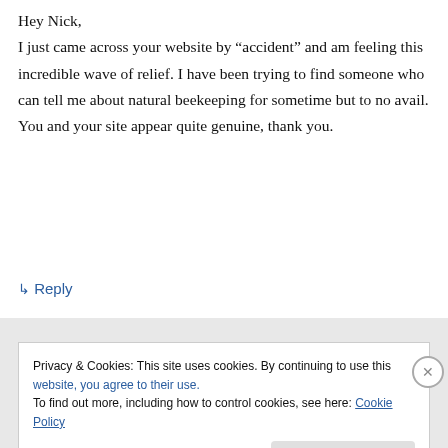Hey Nick,
I just came across your website by “accident” and am feeling this incredible wave of relief. I have been trying to find someone who can tell me about natural beekeeping for sometime but to no avail. You and your site appear quite genuine, thank you.
↳ Reply
Privacy & Cookies: This site uses cookies. By continuing to use this website, you agree to their use.
To find out more, including how to control cookies, see here: Cookie Policy
Close and accept